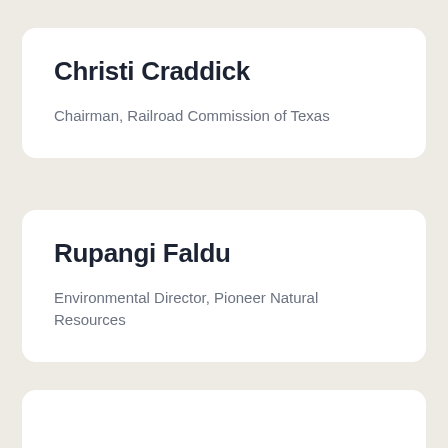Christi Craddick
Chairman, Railroad Commission of Texas
Rupangi Faldu
Environmental Director, Pioneer Natural Resources